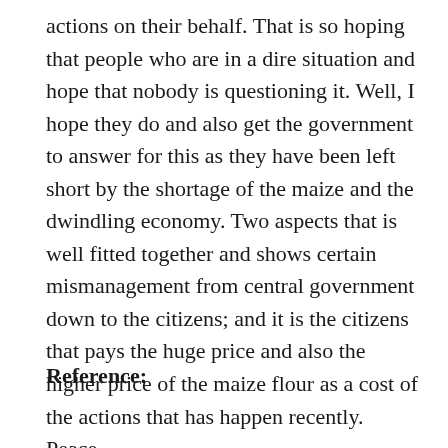actions on their behalf. That is so hoping that people who are in a dire situation and hope that nobody is questioning it. Well, I hope they do and also get the government to answer for this as they have been left short by the shortage of the maize and the dwindling economy. Two aspects that is well fitted together and shows certain mismanagement from central government down to the citizens; and it is the citizens that pays the huge price and also the higher price of the maize flour as a cost of the actions that has happen recently. Peace.
Reference: